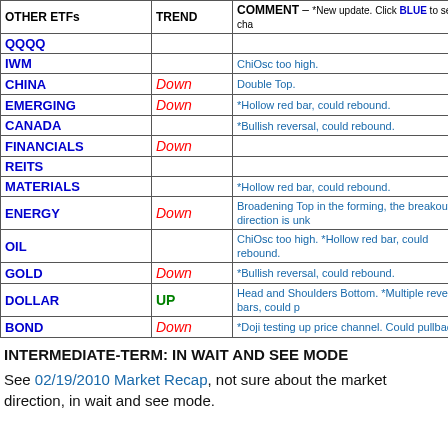| OTHER ETFs | TREND | COMMENT – *New update. Click BLUE to see cha... |
| --- | --- | --- |
| QQQQ |  |  |
| IWM |  | ChiOsc too high. |
| CHINA | Down | Double Top. |
| EMERGING | Down | *Hollow red bar, could rebound. |
| CANADA |  | *Bullish reversal, could rebound. |
| FINANCIALS | Down |  |
| REITS |  |  |
| MATERIALS |  | *Hollow red bar, could rebound. |
| ENERGY | Down | Broadening Top in the forming, the breakout direction is unk... |
| OIL |  | ChiOsc too high. *Hollow red bar, could rebound. |
| GOLD | Down | *Bullish reversal, could rebound. |
| DOLLAR | UP | Head and Shoulders Bottom. *Multiple reversal bars, could p... |
| BOND | Down | *Doji testing up price channel. Could pullback. |
INTERMEDIATE-TERM: IN WAIT AND SEE MODE
See 02/19/2010 Market Recap, not sure about the market direction, in wait and see mode.